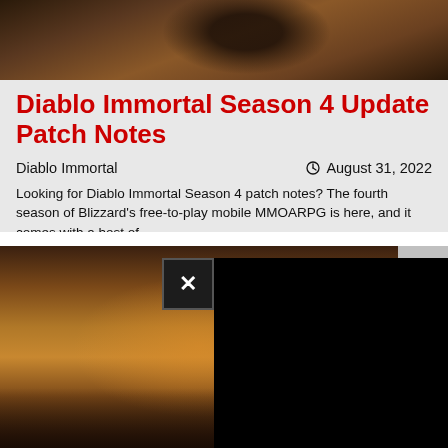[Figure (photo): Dark fantasy game artwork showing armored demon/warrior figure against dark background]
Diablo Immortal Season 4 Update Patch Notes
Diablo Immortal    August 31, 2022
Looking for Diablo Immortal Season 4 patch notes? The fourth season of Blizzard's free-to-play mobile MMOARPG is here, and it comes with a host of...
[Figure (screenshot): Fantasy landscape with warm orange/golden tones showing rocky terrain and glowing sky, with a black popup overlay featuring a close button]